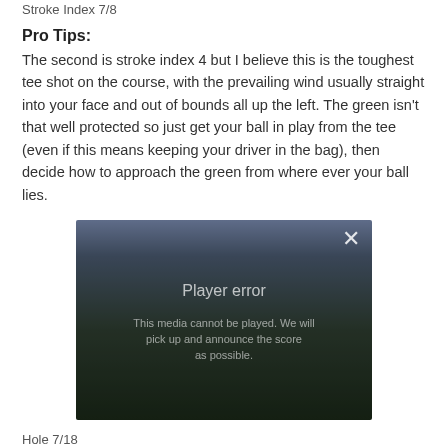Stroke Index 7/8
Pro Tips:
The second is stroke index 4 but I believe this is the toughest tee shot on the course, with the prevailing wind usually straight into your face and out of bounds all up the left. The green isn't that well protected so just get your ball in play from the tee (even if this means keeping your driver in the bag), then decide how to approach the green from where ever your ball lies.
[Figure (screenshot): Video player showing aerial view of a golf course with a 'Player error' message overlay and a close (X) button in the top right corner.]
Hole 7/18